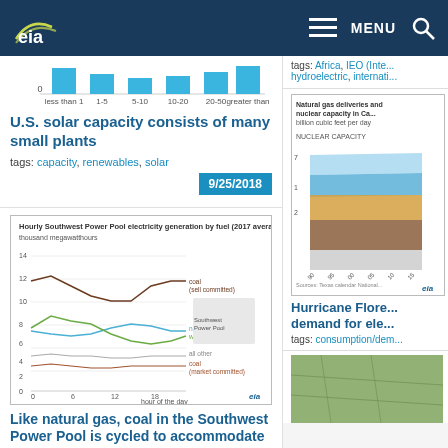EIA Navigation Bar
[Figure (bar-chart): Bar chart showing distribution of solar capacity by plant size categories: less than 1, 1-5, 5-10, 10-20, 20-50, greater than 50]
U.S. solar capacity consists of many small plants
tags: capacity, renewables, solar
9/25/2018
[Figure (line-chart): Line chart showing hourly generation by fuel type: coal (self committed), natural gas, wind, all other, coal (market committed) over hours of the day]
Like natural gas, coal in the Southwest Power Pool is cycled to accommodate wind power
tags: coal, generation, natural gas, wind
9/19/2018
tags: Africa, IEO (International...), hydroelectric, internatio...
[Figure (area-chart): Area chart showing natural gas deliveries and nuclear capacity]
Hurricane Flore... demand for ele...
tags: consumption/dem...
[Figure (map): Map image partially visible at bottom right]